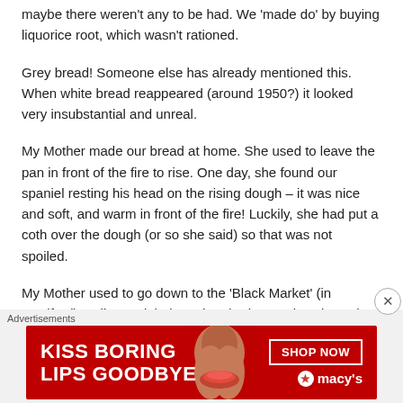maybe there weren't any to be had. We 'made do' by buying liquorice root, which wasn't rationed.
Grey bread! Someone else has already mentioned this. When white bread reappeared (around 1950?) it looked very insubstantial and unreal.
My Mother made our bread at home. She used to leave the pan in front of the fire to rise. One day, she found our spaniel resting his head on the rising dough – it was nice and soft, and warm in front of the fire! Luckily, she had put a coth over the dough (or so she said) so that was not spoiled.
My Mother used to go down to the 'Black Market' (in Bradford) until one night it got bombed out. I don't know how she managed after that. We were always queuing for everything, and the food shops were perpetually empty.
[Figure (infographic): Advertisement banner: red background with 'KISS BORING LIPS GOODBYE' text on left, woman's face with red lips in center, 'SHOP NOW' button and Macy's logo on right.]